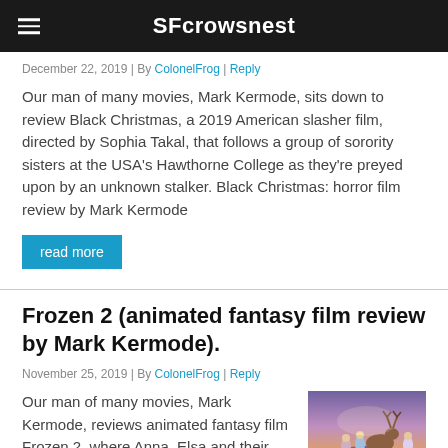SFcrowsnest
December 22, 2019 | By ColonelFrog | Reply
Our man of many movies, Mark Kermode, sits down to review Black Christmas, a 2019 American slasher film, directed by Sophia Takal, that follows a group of sorority sisters at the USA's Hawthorne College as they're preyed upon by an unknown stalker. Black Christmas: horror film review by Mark Kermode
read more
Frozen 2 (animated fantasy film review by Mark Kermode).
November 25, 2019 | By ColonelFrog | Reply
Our man of many movies, Mark Kermode, reviews animated fantasy film Frozen 2, where Anna, Elsa and their friends travel to an enchanted, autumn-bound land to discover the
[Figure (photo): Frozen 2 movie promotional image showing characters and a reindeer in a purple/orange twilight landscape]